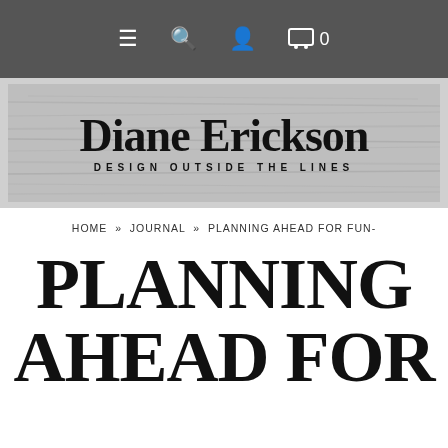≡ 🔍 👤 🛒 0
[Figure (logo): Diane Erickson - Design Outside the Lines logo with handwritten script on textured scratchy background]
HOME » JOURNAL » PLANNING AHEAD FOR FUN-
PLANNING AHEAD FOR